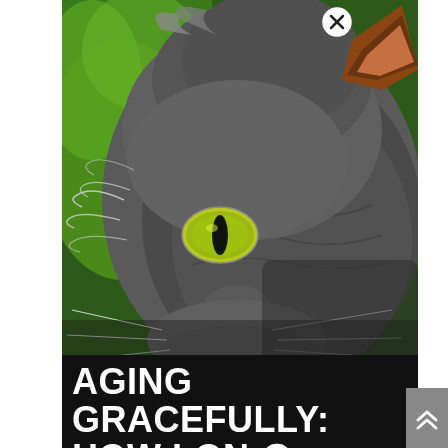[Figure (photo): Close-up portrait of a gray cat with yellow-green eyes against a green background. The cat is viewed from a slight angle, showing its face and the side of its head. There is a circular close/X button overlay near the top center of the image.]
AGING GRACEFULLY: HOW LONG